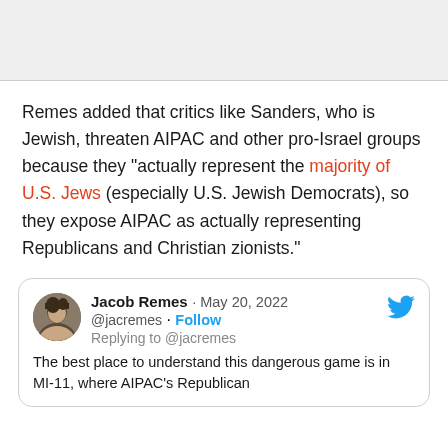Remes added that critics like Sanders, who is Jewish, threaten AIPAC and other pro-Israel groups because they "actually represent the majority of U.S. Jews (especially U.S. Jewish Democrats), so they expose AIPAC as actually representing Republicans and Christian zionists."
[Figure (screenshot): Embedded tweet by Jacob Remes (@jacremes), May 20, 2022, replying to @jacremes. Text: 'The best place to understand this dangerous game is in MI-11, where AIPAC's Republican']